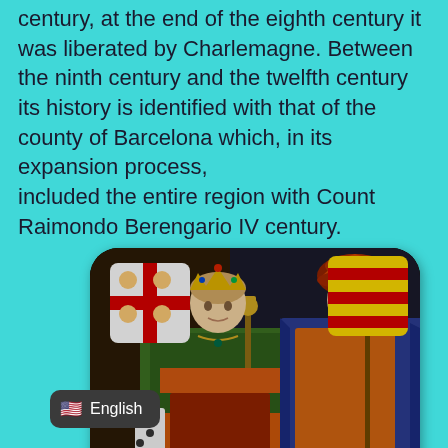century, at the end of the eighth century it was liberated by Charlemagne. Between the ninth century and the twelfth century its history is identified with that of the county of Barcelona which, in its expansion process, included the entire region with Count Raimondo Berengario IV century.
[Figure (illustration): Historical painting depicting two royal figures: a queen wearing a crown and green robe holding a scepter, and a king wearing a red hat with heraldic shields (Sardinia and Aragon) in the background.]
🇺🇸 English